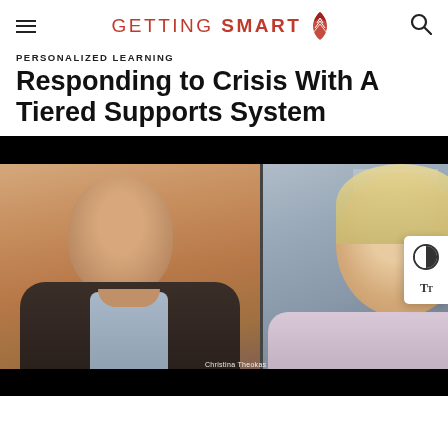GETTING SMART
PERSONALIZED LEARNING
Responding to Crisis With A Tiered Supports System
[Figure (screenshot): Video thumbnail showing two people in a split-screen video call. Left: a smiling middle-aged man with gray hair wearing a dark blazer. Right: a blonde woman smiling. A caption reads 'Christina Theokas'. The video has black letterbox bars at top and bottom. An accessibility panel with contrast and font-size controls appears on the right edge.]